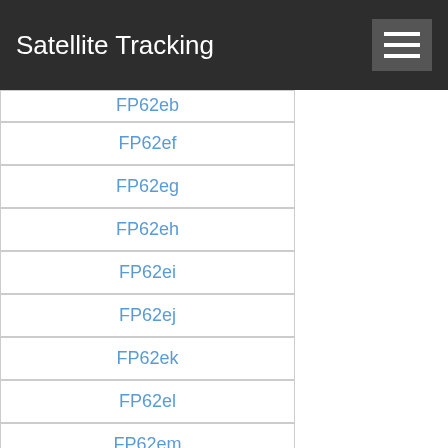Satellite Tracking
FP62eb
FP62ef
FP62eg
FP62eh
FP62ei
FP62ej
FP62ek
FP62el
FP62em
FP62en
FP62eo
FP62ep
FP62eq
FP62er
FP62es
FP62et
FP62eu
FP62ev